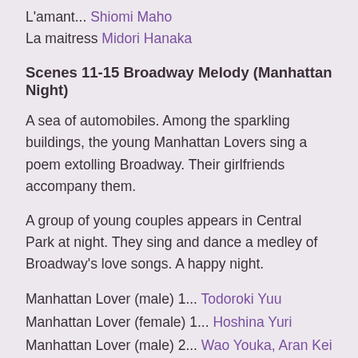L'amant... Shiomi Maho
La maitress Midori Hanaka
Scenes 11-15 Broadway Melody (Manhattan Night)
A sea of automobiles. Among the sparkling buildings, the young Manhattan Lovers sing a poem extolling Broadway. Their girlfriends accompany them.
A group of young couples appears in Central Park at night. They sing and dance a medley of Broadway's love songs. A happy night.
Manhattan Lover (male) 1... Todoroki Yuu
Manhattan Lover (female) 1... Hoshina Yuri
Manhattan Lover (male) 2... Wao Youka, Aran Kei
Manhattan Lover (female) 2... Midori Hanaka, Kisaki Miri